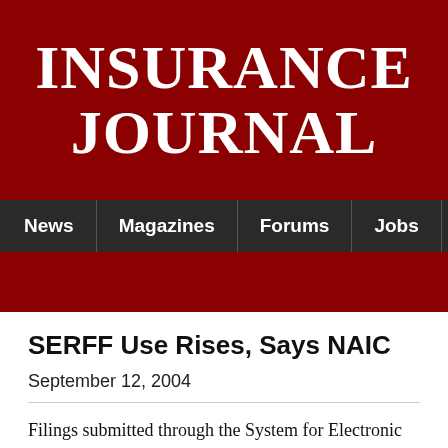[Figure (logo): Insurance Journal logo — white bold serif text on dark red background]
News   Magazines   Forums   Jobs
SERFF Use Rises, Says NAIC
September 12, 2004
Filings submitted through the System for Electronic Rate and Form Filing (SERFF) continue at a record pace in 2004, highlighted by the more than 16,500 filings submitted during the month of August, the most ever submitted during a one-month period, according to the National Association of Insurance